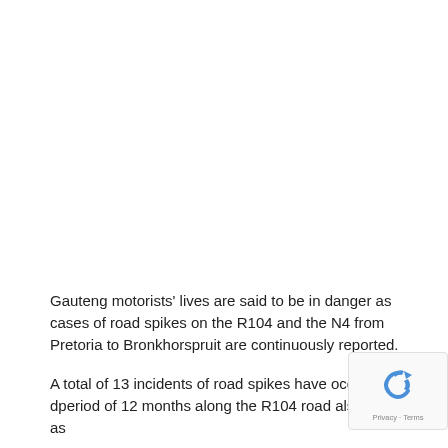Gauteng motorists' lives are said to be in danger as cases of road spikes on the R104 and the N4 from Pretoria to Bronkhorspruit are continuously reported.
A total of 13 incidents of road spikes have occurred o... period of 12 months along the R104 road also known as